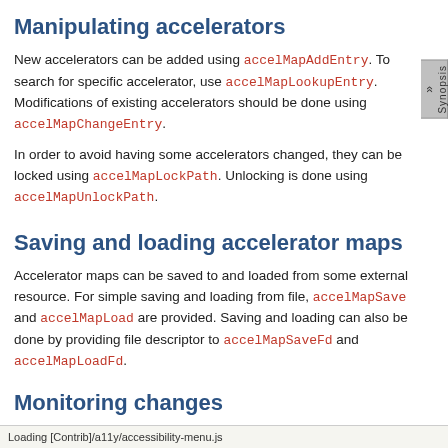Manipulating accelerators
New accelerators can be added using accelMapAddEntry. To search for specific accelerator, use accelMapLookupEntry. Modifications of existing accelerators should be done using accelMapChangeEntry.
In order to avoid having some accelerators changed, they can be locked using accelMapLockPath. Unlocking is done using accelMapUnlockPath.
Saving and loading accelerator maps
Accelerator maps can be saved to and loaded from some external resource. For simple saving and loading from file, accelMapSave and accelMapLoad are provided. Saving and loading can also be done by providing file descriptor to accelMapSaveFd and accelMapLoadFd.
Monitoring changes
Loading [Contrib]/a11y/accessibility-menu.js